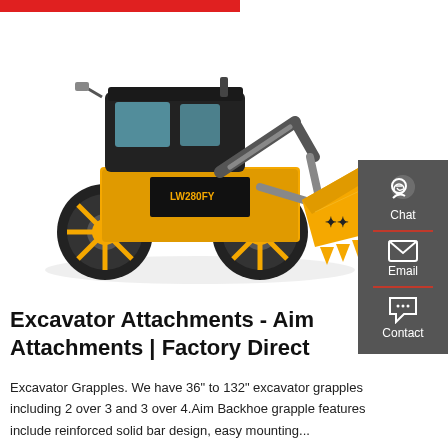[Figure (photo): Yellow and black wheel loader (front loader) with a large bucket attachment, model LW280FY, photographed on a white background.]
Excavator Attachments - Aim Attachments | Factory Direct
Excavator Grapples. We have 36" to 132" excavator grapples including 2 over 3 and 3 over 4.Aim Backhoe grapple features include reinforced solid bar design, easy mounting...